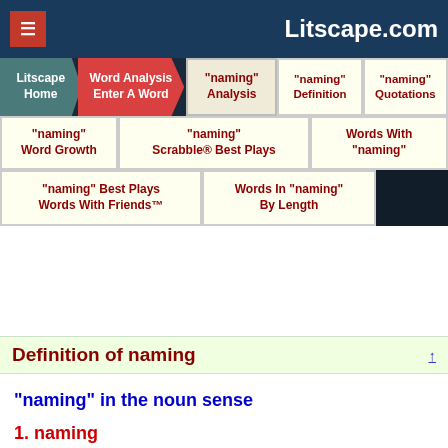Litscape.com
Litscape Home
Word Analysis Enter A Word
"naming" Analysis
"naming" Definition
"naming" Quotations
"naming" Word Growth
"naming" Scrabble® Best Plays
Words With "naming"
"naming" Best Plays Words With Friends™
Words In "naming" By Length
Definition of naming
"naming" in the noun sense
1. naming